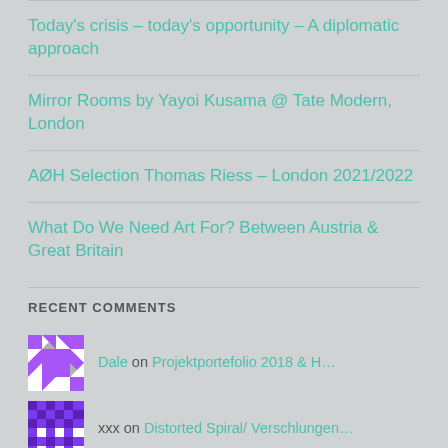Today's crisis – today's opportunity – A diplomatic approach
Mirror Rooms by Yayoi Kusama @ Tate Modern, London
AØH Selection Thomas Riess – London 2021/2022
What Do We Need Art For? Between Austria & Great Britain
RECENT COMMENTS
Dale on Projektportefolio 2018 & H…
xxx on Distorted Spiral/ Verschlungen…